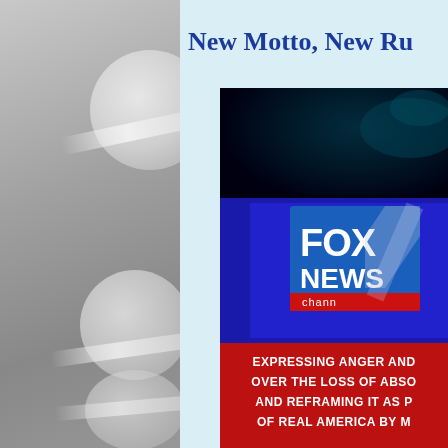WEDNESDAY, DECEMBER 18, 2013
New Motto, New Ru
[Figure (screenshot): Fox News Channel screenshot showing the logo and a red lower-third chyron reading: EXPRESSING ANGER AND OVER THE LOSS OF ABSO AND REFRAMING IT AS P OF REAL AMERICA BY M]